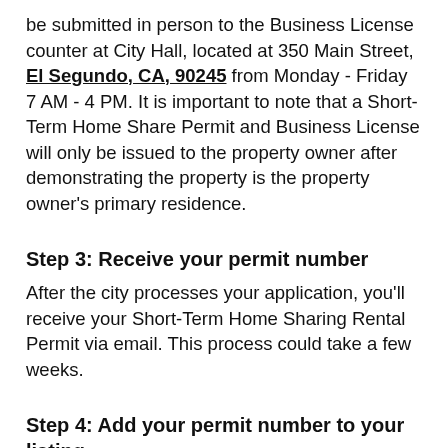be submitted in person to the Business License counter at City Hall, located at 350 Main Street, El Segundo, CA, 90245 from Monday - Friday 7 AM - 4 PM. It is important to note that a Short-Term Home Share Permit and Business License will only be issued to the property owner after demonstrating the property is the property owner's primary residence.
Step 3: Receive your permit number
After the city processes your application, you'll receive your Short-Term Home Sharing Rental Permit via email. This process could take a few weeks.
Step 4: Add your permit number to your listing